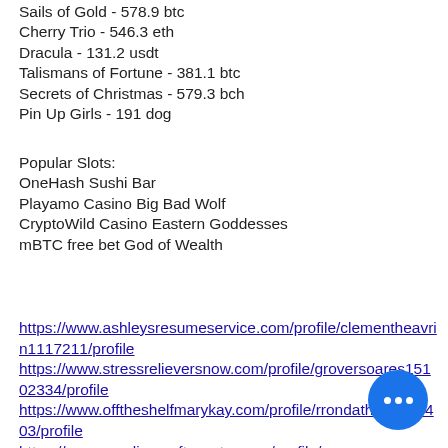Sails of Gold - 578.9 btc
Cherry Trio - 546.3 eth
Dracula - 131.2 usdt
Talismans of Fortune - 381.1 btc
Secrets of Christmas - 579.3 bch
Pin Up Girls - 191 dog
Popular Slots:
OneHash Sushi Bar
Playamo Casino Big Bad Wolf
CryptoWild Casino Eastern Goddesses
mBTC free bet God of Wealth
https://www.ashleysresumeservice.com/profile/clementheavrin1117211/profile
https://www.stressrelieversnow.com/profile/groversoares15102334/profile
https://www.offtheshelfmarykay.com/profile/rrondathe15973403/profile
https://www.carolinacraftscenter.com/profile/